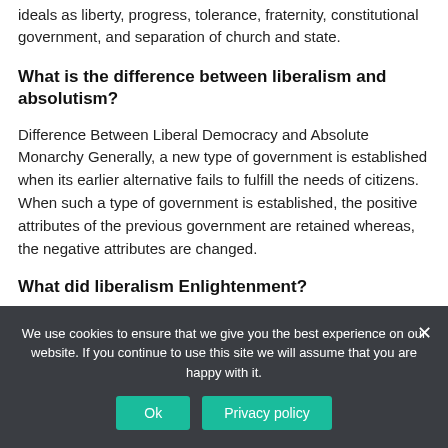ideals as liberty, progress, tolerance, fraternity, constitutional government, and separation of church and state.
What is the difference between liberalism and absolutism?
Difference Between Liberal Democracy and Absolute Monarchy Generally, a new type of government is established when its earlier alternative fails to fulfill the needs of citizens. When such a type of government is established, the positive attributes of the previous government are retained whereas, the negative attributes are changed.
What did liberalism Enlightenment?
We use cookies to ensure that we give you the best experience on our website. If you continue to use this site we will assume that you are happy with it.